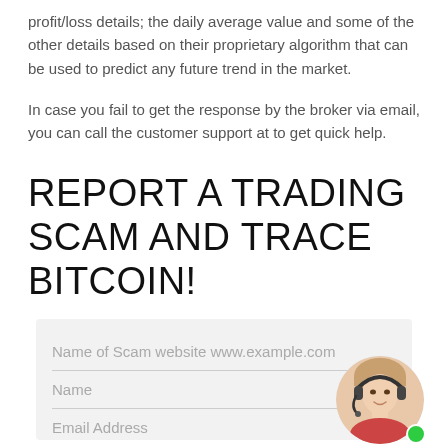profit/loss details; the daily average value and some of the other details based on their proprietary algorithm that can be used to predict any future trend in the market.
In case you fail to get the response by the broker via email, you can call the customer support at to get quick help.
REPORT A TRADING SCAM AND TRACE BITCOIN!
[Figure (other): A web form with fields: Name of Scam website www.example.com, Name, Email Address, on a light grey background. A circular photo of a woman wearing a headset is in the bottom-right corner with a green dot indicator.]